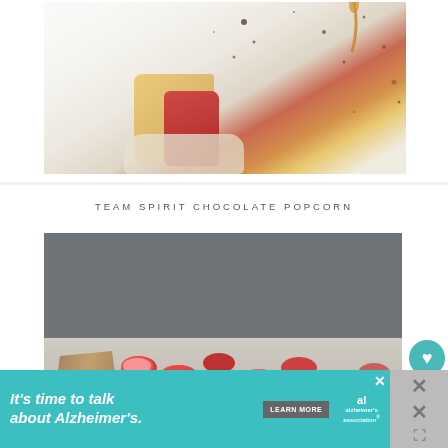[Figure (photo): Close-up food photo on white background with scattered spices and colorful food items (red and yellow), top portion of a recipe card]
TEAM SPIRIT CHOCOLATE POPCORN
[Figure (photo): Chocolate popcorn recipe photo showing a grey top half and bottom half with a brown paper bag and red and white popcorn pieces on a rustic surface]
[Figure (other): Advertisement banner: It's time to talk about Alzheimer's. with LEARN MORE button and Alzheimer's Association logo]